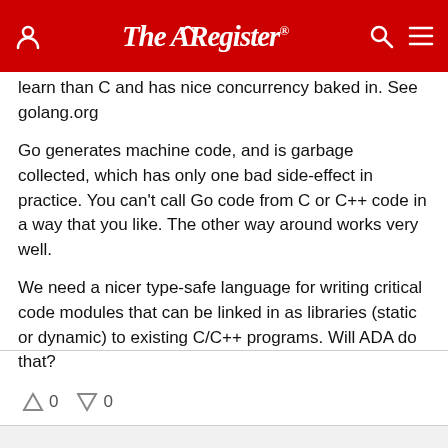The Register
learn than C and has nice concurrency baked in. See golang.org
Go generates machine code, and is garbage collected, which has only one bad side-effect in practice. You can't call Go code from C or C++ code in a way that you like. The other way around works very well.
We need a nicer type-safe language for writing critical code modules that can be linked in as libraries (static or dynamic) to existing C/C++ programs. Will ADA do that?
0  0
Friday 2nd May 2014 09:26 GMT
Nick Ryan
Report abuse